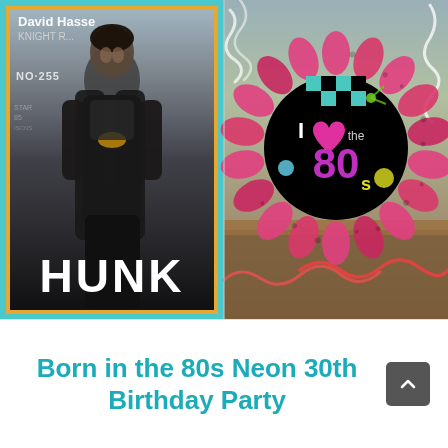[Figure (photo): Two-panel photo. Left panel: A framed poster of David Hasselhoff labeled 'HUNK' in large white bold letters at the bottom, with orange-framed border and teal outer border. Right panel: An '80s themed decorative rosette badge reading 'I love the 80s' surrounded by pink leopard-print ruffled ribbon, on a wooden shelf with coiled decorations.]
Born in the 80s Neon 30th Birthday Party